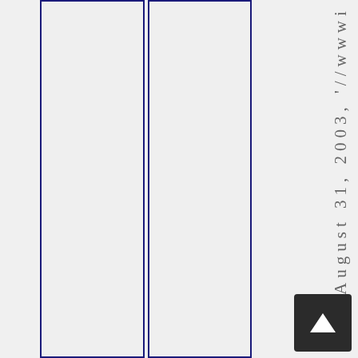om, 'August 31, 2003, '//wwwi
[Figure (other): Scroll to top navigation button with arrow icon]